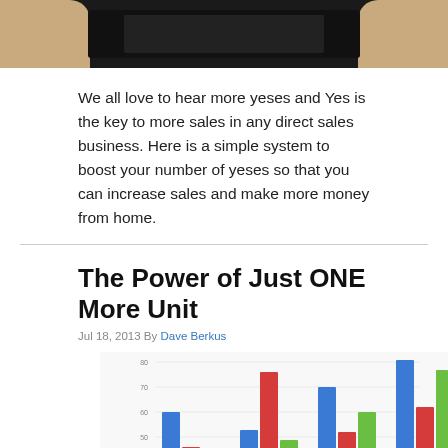[Figure (photo): Photo of hands holding a dark object/document against a black background]
We all love to hear more yeses and Yes is the key to more sales in any direct sales business. Here is a simple system to boost your number of yeses so that you can increase sales and make more money from home.
The Power of Just ONE More Unit
Jul 18, 2013 By Dave Berkus
[Figure (photo): Photo of a hand pointing at a grouped bar chart with blue, red, and green bars showing quarterly data, with a pie chart partially visible at the bottom left]